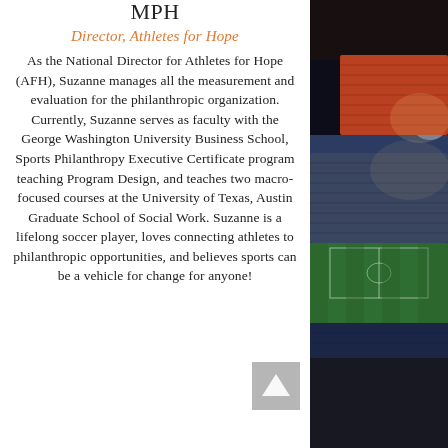MPH
Director, Athletes for Hope
As the National Director for Athletes for Hope (AFH), Suzanne manages all the measurement and evaluation for the philanthropic organization. Currently, Suzanne serves as faculty with the George Washington University Business School, Sports Philanthropy Executive Certificate program teaching Program Design, and teaches two macro-focused courses at the University of Texas, Austin Graduate School of Social Work. Suzanne is a lifelong soccer player, loves connecting athletes to philanthropic opportunities, and believes sports can be a vehicle for change for anyone!
[Figure (photo): Night-time stadium interior photo showing illuminated stands and green pitch, viewed from upper concourse angle.]